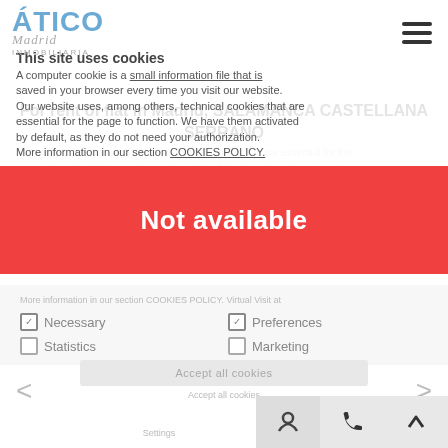[Figure (logo): Ático Madrid real estate logo in blue]
This site uses cookies
A computer cookie is a small information file that is saved in your browser every time you visit our website. Our website uses, among others, technical cookies that are essential for the page to function. We have them activated by default, as they do not need your authorization. More information in our section COOKIES POLICY. Necessary Preferences Statistics Marketing Accept all cookies Settings
For rent of flat in Madrid, SALAMANCA CASTELLANA SERRANO
Not available
Necessary
Preferences
Statistics
Marketing
Accept all cookies
Settings